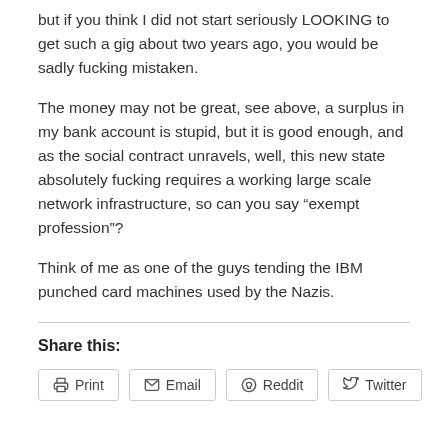but if you think I did not start seriously LOOKING to get such a gig about two years ago, you would be sadly fucking mistaken.
The money may not be great, see above, a surplus in my bank account is stupid, but it is good enough, and as the social contract unravels, well, this new state absolutely fucking requires a working large scale network infrastructure, so can you say “exempt profession”?
Think of me as one of the guys tending the IBM punched card machines used by the Nazis.
Share this:
Print | Email | Reddit | Twitter